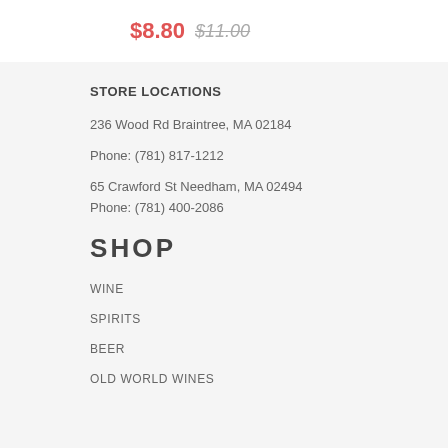$8.80 $11.00
STORE LOCATIONS
236 Wood Rd Braintree, MA 02184
Phone: (781) 817-1212
65 Crawford St Needham, MA 02494
Phone: (781) 400-2086
SHOP
WINE
SPIRITS
BEER
OLD WORLD WINES